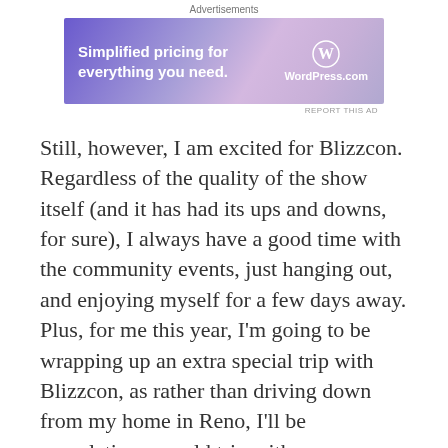Advertisements
[Figure (other): WordPress.com advertisement banner with gradient purple background, text 'Simplified pricing for everything you need.' and WordPress logo on the right]
Still, however, I am excited for Blizzcon. Regardless of the quality of the show itself (and it has had its ups and downs, for sure), I always have a good time with the community events, just hanging out, and enjoying myself for a few days away. Plus, for me this year, I'm going to be wrapping up an extra special trip with Blizzcon, as rather than driving down from my home in Reno, I'll be completing a world trip with my girlfriend for her first time out of the country, with us going to London, Rome, and Tokyo, and